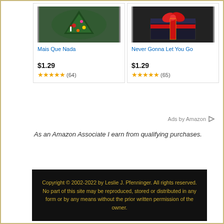[Figure (illustration): Product image for Mais Que Nada – Christmas tree with ornaments]
Mais Que Nada
$1.29
★★★★★ (64)
[Figure (illustration): Product image for Never Gonna Let You Go – wrapped gift with red bow]
Never Gonna Let You Go
$1.29
★★★★★ (65)
Ads by Amazon ▷
As an Amazon Associate I earn from qualifying purchases.
Copyright © 2002-2022 by Leslie J. Pfenninger. All rights reserved. No part of this site may be reproduced, stored or distributed in any form or by any means without the prior written permission of the owner.